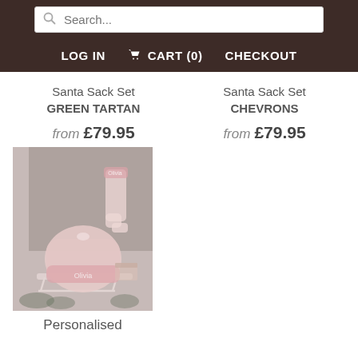Search...
LOG IN  CART (0)  CHECKOUT
Santa Sack Set GREEN TARTAN
from £79.95
Santa Sack Set CHEVRONS
from £79.95
[Figure (photo): Photo of a personalised pink Santa sack and matching stocking, displayed on a wooden sled with Christmas decorations in the background.]
Personalised